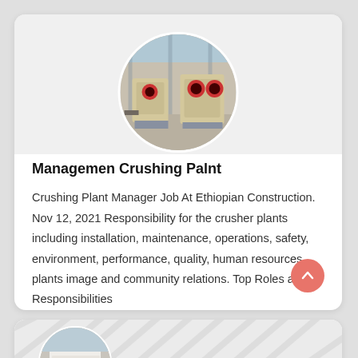[Figure (photo): Circular photo of crushing plant machinery in a factory setting, showing jaw crushers on the floor of an industrial facility]
Managemen Crushing Palnt
Crushing Plant Manager Job At Ethiopian Construction. Nov 12, 2021 Responsibility for the crusher plants including installation, maintenance, operations, safety, environment, performance, quality, human resources, plants image and community relations. Top Roles and Responsibilities
[Figure (photo): Partial circular photo of another crushing plant machine, partially visible at bottom of page]